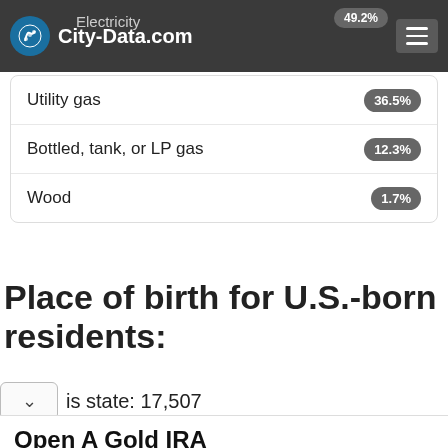City-Data.com
| Category | Percentage |
| --- | --- |
| Electricity | 49.2% |
| Utility gas | 36.5% |
| Bottled, tank, or LP gas | 12.3% |
| Wood | 1.7% |
Place of birth for U.S.-born residents:
This state: 17,507
Open A Gold IRA
Transfer Your Existing IRA or 401K into Gold or Silver Orion Metal Exchange